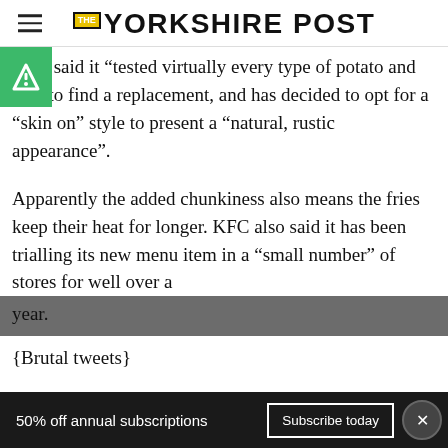THE YORKSHIRE POST
KFC said it “tested virtually every type of potato and cut” to find a replacement, and has decided to opt for a “skin on” style to present a “natural, rustic appearance”.
Apparently the added chunkiness also means the fries keep their heat for longer. KFC also said it has been trialling its new menu item in a “small number” of stores for well over a year.
{Brutal tweets}
50% off annual subscriptions   Subscribe today